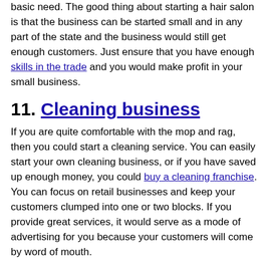basic need. The good thing about starting a hair salon is that the business can be started small and in any part of the state and the business would still get enough customers. Just ensure that you have enough skills in the trade and you would make profit in your small business.
11. Cleaning business
If you are quite comfortable with the mop and rag, then you could start a cleaning service. You can easily start your own cleaning business, or if you have saved up enough money, you could buy a cleaning franchise. You can focus on retail businesses and keep your customers clumped into one or two blocks. If you provide great services, it would serve as a mode of advertising for you because your customers will come by word of mouth.
12. Savings consultant service
A savings consultant helps clients accomplish financial objectives by assessing financial situations; developing and presenting financial strategies and plans; monitoring changes in financial status and life circumstances. California being an